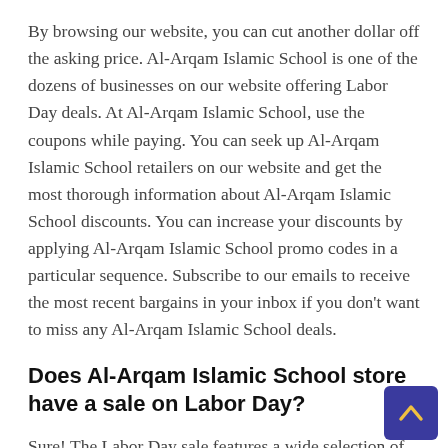By browsing our website, you can cut another dollar off the asking price. Al-Arqam Islamic School is one of the dozens of businesses on our website offering Labor Day deals. At Al-Arqam Islamic School, use the coupons while paying. You can seek up Al-Arqam Islamic School retailers on our website and get the most thorough information about Al-Arqam Islamic School discounts. You can increase your discounts by applying Al-Arqam Islamic School promo codes in a particular sequence. Subscribe to our emails to receive the most recent bargains in your inbox if you don't want to miss any Al-Arqam Islamic School deals.
Does Al-Arqam Islamic School store have a sale on Labor Day?
Sure! The Labor Day sale features a wide selection of discounted goods, including apparel, electronics, cosmetics, furnishings, and much more. There are also Al-Arqam Islamic School discounts available! The massive discount